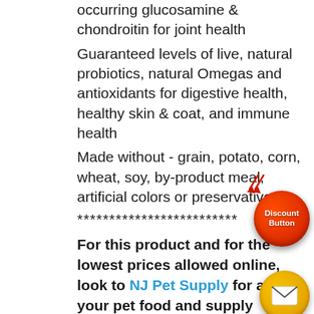occurring glucosamine & chondroitin for joint health
Guaranteed levels of live, natural probiotics, natural Omegas and antioxidants for digestive health, healthy skin & coat, and immune health
Made without - grain, potato, corn, wheat, soy, by-product meal, artificial colors or preservatives
*************************
For this product and for the lowest prices allowed online, look to NJ Pet Supply for all of your pet food and supply needs. Whether your animal barks or chirps, meows or squawks, we have it all. Shop the convenience of your home or on the go...
[Figure (illustration): Red circular discount button with white text 'Discount Button' and red arrow indicators, plus a yellow envelope icon button below]